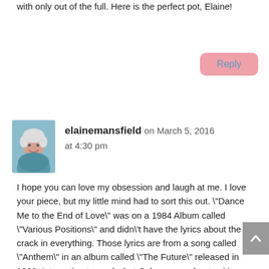with only out of the full. Here is the perfect pot, Elaine!
Reply
elainemansfield on March 5, 2016 at 4:30 pm
[Figure (photo): Profile photo of a woman with short grey/white hair, smiling, outdoors.]
I hope you can love my obsession and laugh at me. I love your piece, but my little mind had to sort this out. "Dance Me to the End of Love" was on a 1984 Album called "Various Positions" and didn't have the lyrics about the crack in everything. Those lyrics are from a song called "Anthem" in an album called "The Future" released in 1992. Interesting to read what Cohen says about writing "Anthem" and how difficult it